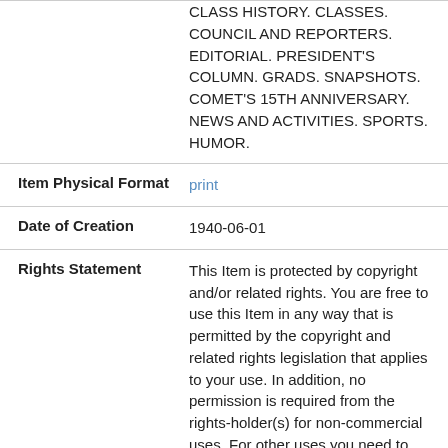| Field | Value |
| --- | --- |
|  | CLASS HISTORY. CLASSES. COUNCIL AND REPORTERS. EDITORIAL. PRESIDENT'S COLUMN. GRADS. SNAPSHOTS. COMET'S 15TH ANNIVERSARY. NEWS AND ACTIVITIES. SPORTS. HUMOR. |
| Item Physical Format | print |
| Date of Creation | 1940-06-01 |
| Rights Statement | This Item is protected by copyright and/or related rights. You are free to use this Item in any way that is permitted by the copyright and related rights legislation that applies to your use. In addition, no permission is required from the rights-holder(s) for non-commercial uses. For other uses you need to obtain permission from |